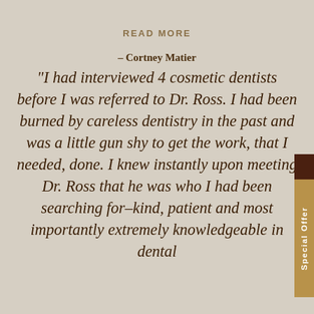READ MORE
– Cortney Matier
“I had interviewed 4 cosmetic dentists before I was referred to Dr. Ross. I had been burned by careless dentistry in the past and was a little gun shy to get the work, that I needed, done. I knew instantly upon meeting Dr. Ross that he was who I had been searching for–kind, patient and most importantly extremely knowledgeable in dental